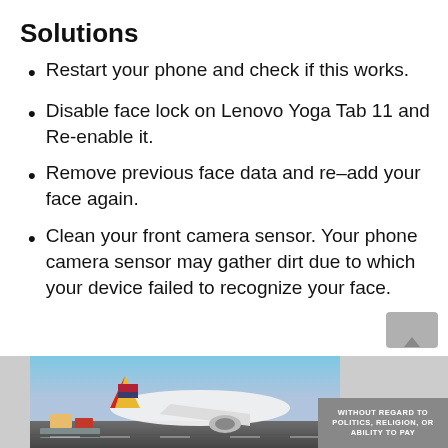Solutions
Restart your phone and check if this works.
Disable face lock on Lenovo Yoga Tab 11 and Re-enable it.
Remove previous face data and re–add your face again.
Clean your front camera sensor. Your phone camera sensor may gather dirt due to which your device failed to recognize your face.
[Figure (photo): Advertisement banner showing an airplane cargo scene with text 'WITHOUT REGARD TO POLITICS, RELIGION, OR ABILITY TO PAY']